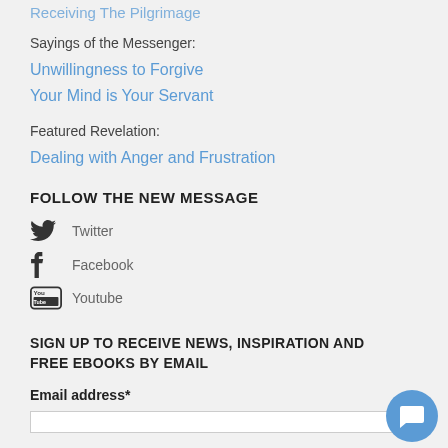Receiving The Pilgrimage
Sayings of the Messenger:
Unwillingness to Forgive
Your Mind is Your Servant
Featured Revelation:
Dealing with Anger and Frustration
FOLLOW THE NEW MESSAGE
Twitter
Facebook
Youtube
SIGN UP TO RECEIVE NEWS, INSPIRATION AND FREE EBOOKS BY EMAIL
Email address*